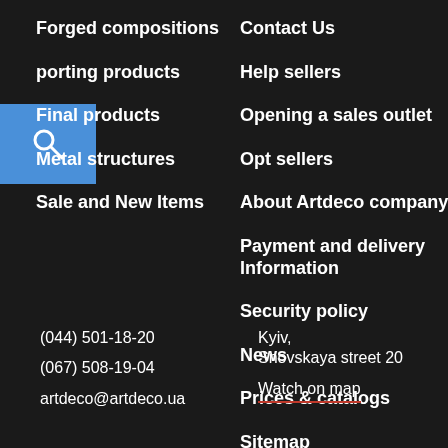Forged compositions
porting products
Final products
Metal structures
Sale and New Items
Contact Us
Help sellers
Opening a sales outlet
Opt sellers
About Artdeco company
Payment and delivery Information
Security policy
News
Prices & catalogs
Sitemap
(044) 501-18-20
(067) 508-19-04
artdeco@artdeco.ua
Kyiv,
Snovskaya street 20
Watch on map